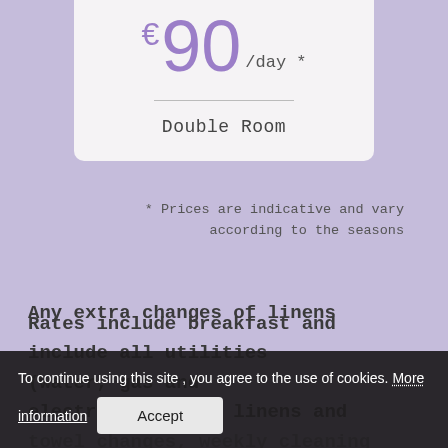€90 /day *
Double Room
* Prices are indicative and vary according to the seasons
Rates include breakfast and include all utilities (water, gas and electricity), bed linens and
Any extra changes of linens
To continue using this site , you agree to the use of cookies. More information  Accept